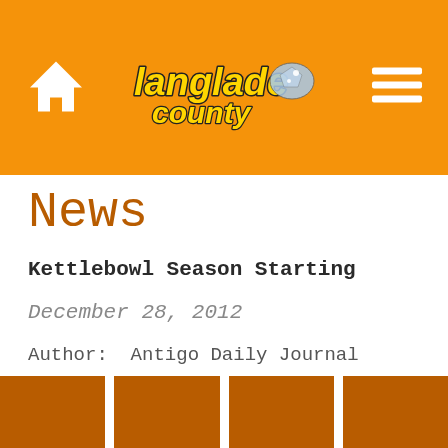Langlade County
News
Kettlebowl Season Starting
December 28, 2012
Author:  Antigo Daily Journal
Source:  Antigo Daily Journal